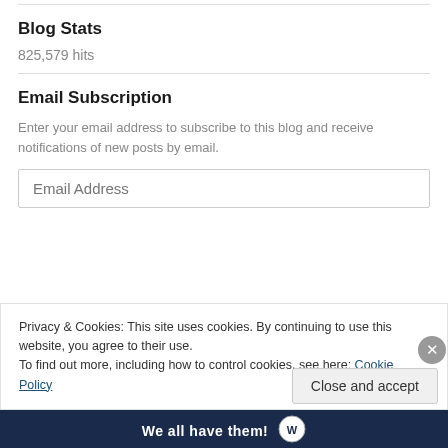Blog Stats
825,579 hits
Email Subscription
Enter your email address to subscribe to this blog and receive notifications of new posts by email.
Email Address
Privacy & Cookies: This site uses cookies. By continuing to use this website, you agree to their use.
To find out more, including how to control cookies, see here: Cookie Policy
Close and accept
We all have them!